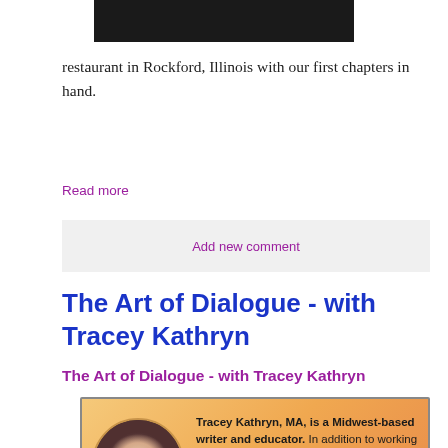[Figure (photo): Top portion of a dark/black photo strip cropped at the top of the page]
restaurant in Rockford, Illinois with our first chapters in hand.
Read more
Add new comment
The Art of Dialogue - with Tracey Kathryn
The Art of Dialogue - with Tracey Kathryn
[Figure (infographic): Author bio box with orange/gold gradient background. Shows a circular portrait photo of Tracey Kathryn on the left and bio text on the right reading: Tracey Kathryn, MA, is a Midwest-based writer and educator. In addition to working on her mystery series, she teaches college classes including critical thinking, composition and persuasion. Her website is www.bubblesandfiber.com]